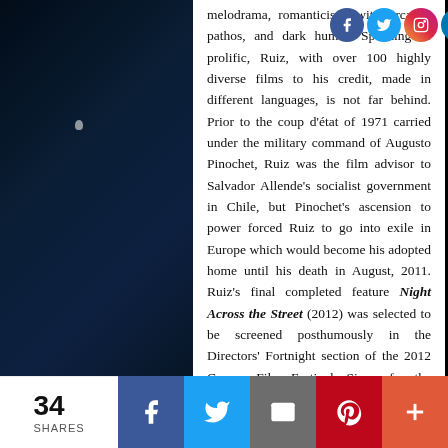melodrama, romanticism, wit, sarcasm, pathos, and dark humor. Speaking of prolific, Ruiz, with over 100 highly diverse films to his credit, made in different languages, is not far behind. Prior to the coup d'état of 1971 carried under the military command of Augusto Pinochet, Ruiz was the film advisor to Salvador Allende's socialist government in Chile, but Pinochet's ascension to power forced Ruiz to go into exile in Europe which would become his adopted home until his death in August, 2011. Ruiz's final completed feature Night Across the Street (2012) was selected to be screened posthumously in the Directors' Fortnight section of the 2012 Cannes Film Festival. Since, for the major part of his career, Ruiz neither lived in Latin America nor made his films in the Spanish language, he is sometimes mistaken as a European filmmaker.
[Figure (photo): Dark space/lunar surface scene with a figure in a spacesuit on the right and a small astronaut figure visible in the upper left area, dark blue/black tones]
34 SHARES